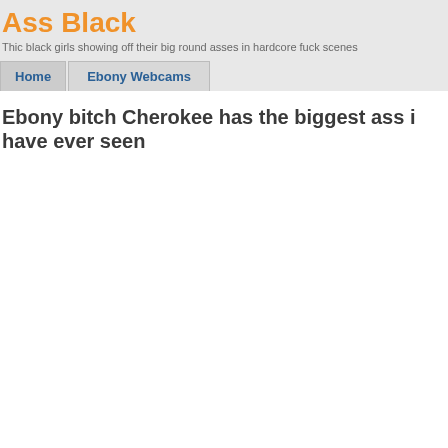Ass Black
Thic black girls showing off their big round asses in hardcore fuck scenes
Home | Ebony Webcams
Ebony bitch Cherokee has the biggest ass i have ever seen